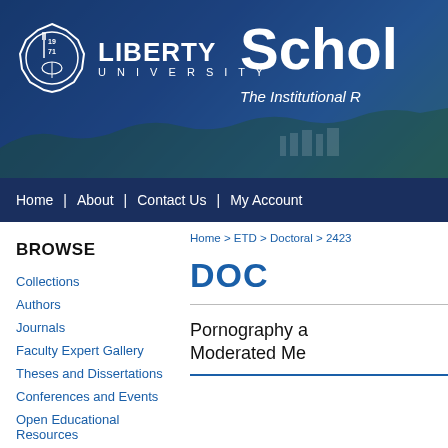[Figure (screenshot): Liberty University Scholars institutional repository website header with university logo, seal, and campus aerial photo background]
Home | About | Contact Us | My Account
BROWSE
Collections
Authors
Journals
Faculty Expert Gallery
Theses and Dissertations
Conferences and Events
Open Educational Resources
Home > ETD > Doctoral > 2423
DOC
Pornography a Moderated Me